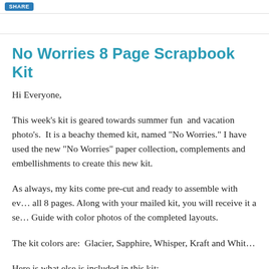SHARE
No Worries 8 Page Scrapbook Kit
Hi Everyone,
This week's kit is geared towards summer fun  and vacation photo's.  It is a beachy themed kit, named "No Worries." I have used the new "No Worries" paper collection, complements and embellishments to create this new kit.
As always, my kits come pre-cut and ready to assemble with everything for all 8 pages. Along with your mailed kit, you will receive it a separate Guide with color photos of the completed layouts.
The kit colors are:  Glacier, Sapphire, Whisper, Kraft and White.
Here is what else is included in this kit: